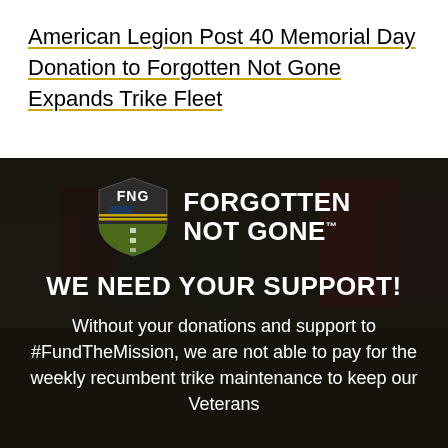American Legion Post 40 Memorial Day Donation to Forgotten Not Gone Expands Trike Fleet
[Figure (logo): Forgotten Not Gone (FNG) logo: a shield with FNG initials and American flag stripes in gold/green, beside bold white text reading FORGOTTEN NOT GONE with trademark symbol, on a dark background with a crowd/flag scene.]
WE NEED YOUR SUPPORT!
Without your donations and support to #FundTheMission, we are not able to pay for the weekly recumbent trike maintenance to keep our Veterans